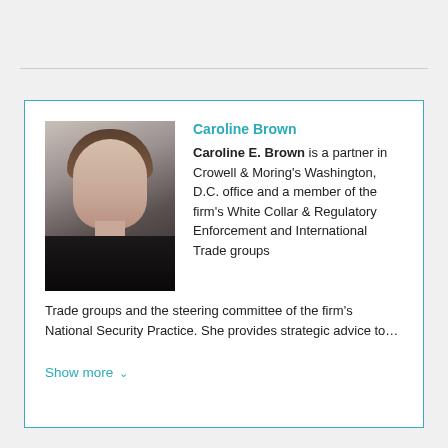[Figure (photo): Professional headshot of Caroline Brown, a woman with brown hair pulled back, wearing a dark jacket, smiling, against a neutral gray background.]
Caroline Brown
Caroline E. Brown is a partner in Crowell & Moring's Washington, D.C. office and a member of the firm's White Collar & Regulatory Enforcement and International Trade groups and the steering committee of the firm's National Security Practice. She provides strategic advice to…
Show more ∨